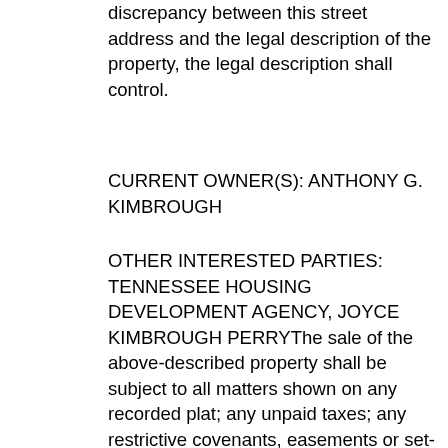discrepancy between this street address and the legal description of the property, the legal description shall control.
CURRENT OWNER(S): ANTHONY G. KIMBROUGH
OTHER INTERESTED PARTIES: TENNESSEE HOUSING DEVELOPMENT AGENCY, JOYCE KIMBROUGH PERRYThe sale of the above-described property shall be subject to all matters shown on any recorded plat; any unpaid taxes; any restrictive covenants, easements or set-back lines that may be applicable; any prior liens or encumbrances as well as any priority created by a fixture filing; and to any matter that an accurate survey of the premises might disclose. This property is being sold with the express reservation that it is subject to confirmation by the lender or Substitute Trustee. This sale may be rescinded